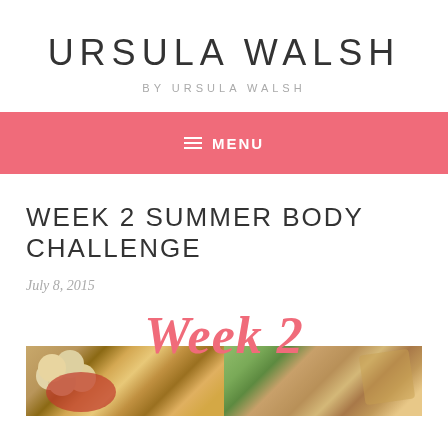URSULA WALSH
BY URSULA WALSH
≡ MENU
WEEK 2 SUMMER BODY CHALLENGE
July 8, 2015
[Figure (illustration): Blog post header image showing 'Week 2' text in large italic red font overlaid above two food photos: left showing eggs and a skillet dish, right showing a prepared food dish with green garnish]